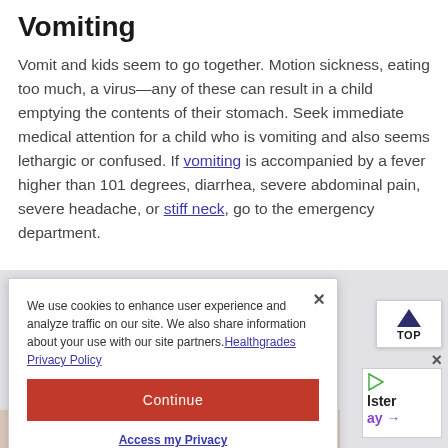Vomiting
Vomit and kids seem to go together. Motion sickness, eating too much, a virus—any of these can result in a child emptying the contents of their stomach. Seek immediate medical attention for a child who is vomiting and also seems lethargic or confused. If vomiting is accompanied by a fever higher than 101 degrees, diarrhea, severe abdominal pain, severe headache, or stiff neck, go to the emergency department.
We use cookies to enhance user experience and analyze traffic on our site. We also share information about your use with our site partners. Healthgrades Privacy Policy
Continue
Access my Privacy Preferences